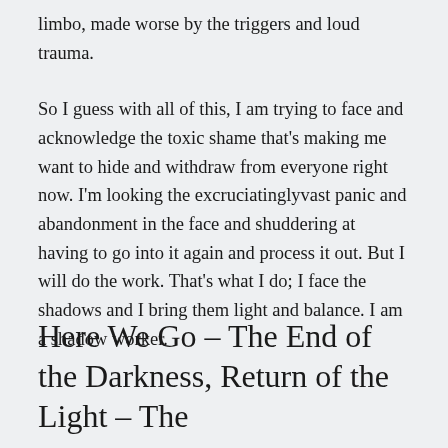limbo, made worse by the triggers and loud trauma.
So I guess with all of this, I am trying to face and acknowledge the toxic shame that's making me want to hide and withdraw from everyone right now. I'm looking the excruciatinglyvast panic and abandonment in the face and shuddering at having to go into it again and process it out. But I will do the work. That's what I do; I face the shadows and I bring them light and balance. I am a shadow worker.
Here We Go – The End of the Darkness, Return of the Light – The